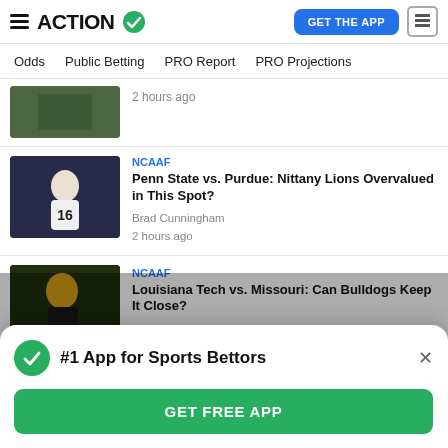ACTION GET THE APP
Odds  Public Betting  PRO Report  PRO Projections
2 hours ago
NCAAF
Penn State vs. Purdue: Nittany Lions Overvalued in This Spot?
Brad Cunningham
2 hours ago
NCAAF
Louisiana Tech vs. Missouri: Can Bulldogs Keep It Close?
#1 App for Sports Bettors
GET FREE APP